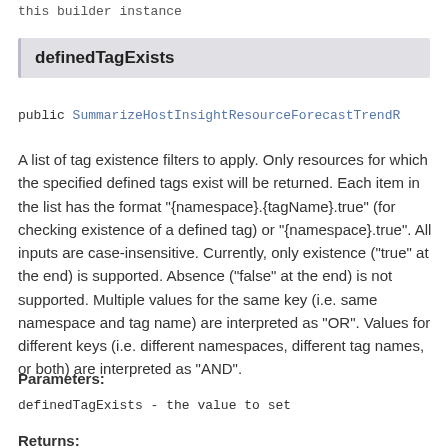this builder instance
definedTagExists
public SummarizeHostInsightResourceForecastTrendR
A list of tag existence filters to apply. Only resources for which the specified defined tags exist will be returned. Each item in the list has the format "{namespace}.{tagName}.true" (for checking existence of a defined tag) or "{namespace}.true". All inputs are case-insensitive. Currently, only existence (“true” at the end) is supported. Absence (“false” at the end) is not supported. Multiple values for the same key (i.e. same namespace and tag name) are interpreted as “OR”. Values for different keys (i.e. different namespaces, different tag names, or both) are interpreted as “AND”.
Parameters:
definedTagExists - the value to set
Returns: